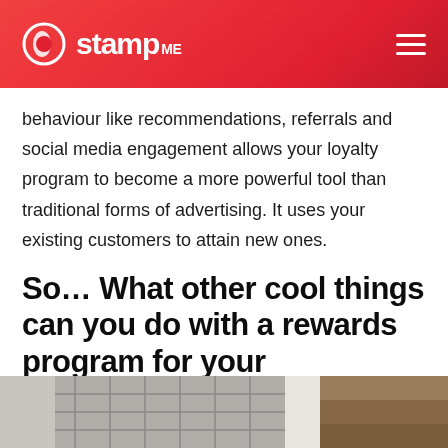stamp ME
behaviour like recommendations, referrals and social media engagement allows your loyalty program to become a more powerful tool than traditional forms of advertising. It uses your existing customers to attain new ones.
So… What other cool things can you do with a rewards program for your yoga/Pilates studio?
[Figure (photo): Partial view of a photo at the bottom of the page showing what appears to be a yoga or pilates studio setting with grid/mat structure visible on the left and a brick or textured surface on the right.]